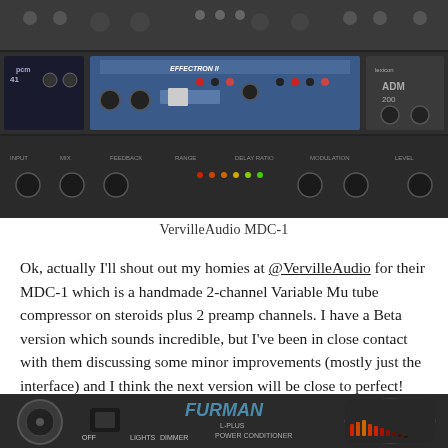[Figure (photo): Photo of audio rack equipment including PCM 41 digital delay, Effectron II digital delay unit, and other rack gear]
VervilleAudio MDC-1
Ok, actually I'll shout out my homies at @VervilleAudio for their MDC-1 which is a handmade 2-channel Variable Mu tube compressor on steroids plus 2 preamp channels. I have a Beta version which sounds incredible, but I've been in close contact with them discussing some minor improvements (mostly just the interface) and I think the next version will be close to perfect! These guys are developing some amazing gear in Montreal.
[Figure (photo): Photo of Furman power conditioner and light module rack unit showing LIGHTS, DIMMER, L-PLUS POWER CONDITIONER AND LIGHT MODULE labels]